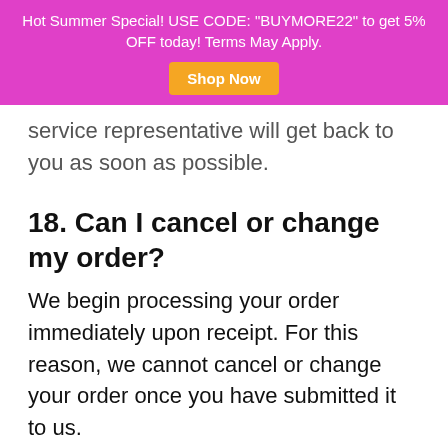Hot Summer Special! USE CODE: "BUYMORE22" to get 5% OFF today! Terms May Apply. Shop Now
service representative will get back to you as soon as possible.
18. Can I cancel or change my order?
We begin processing your order immediately upon receipt. For this reason, we cannot cancel or change your order once you have submitted it to us.
19. Can I change or update my shipping address?
We begin processing your order immediately